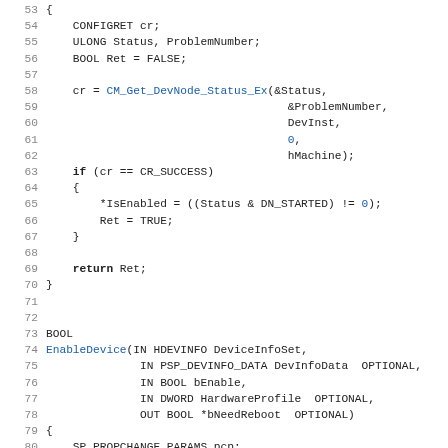[Figure (screenshot): Source code listing lines 53-85 in C/C++, showing functions with line numbers, keywords in bold, function names and numeric literals in blue.]